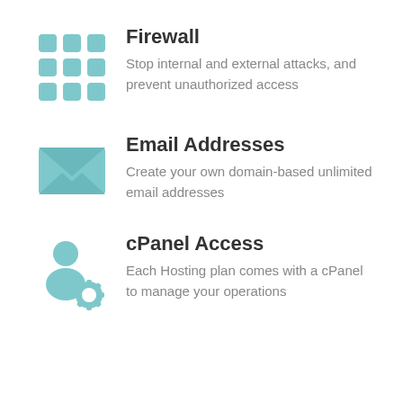[Figure (illustration): Grid of 9 rounded squares icon representing a firewall or apps menu, in teal color]
Firewall
Stop internal and external attacks, and prevent unauthorized access
[Figure (illustration): Envelope/email icon in teal color]
Email Addresses
Create your own domain-based unlimited email addresses
[Figure (illustration): Person with gear/settings icon representing cPanel access, in teal color]
cPanel Access
Each Hosting plan comes with a cPanel to manage your operations